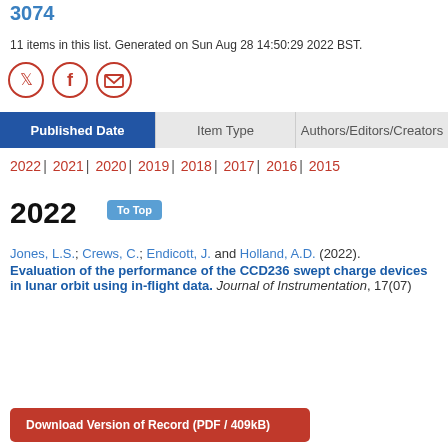3074
11 items in this list. Generated on Sun Aug 28 14:50:29 2022 BST.
[Figure (other): Social sharing icons: Twitter, Facebook, Email (orange circles)]
Published Date | Item Type | Authors/Editors/Creators
2022 | 2021 | 2020 | 2019 | 2018 | 2017 | 2016 | 2015
2022   To Top
Jones, L.S.; Crews, C.; Endicott, J. and Holland, A.D. (2022). Evaluation of the performance of the CCD236 swept charge devices in lunar orbit using in-flight data. Journal of Instrumentation, 17(07)
Download Version of Record (PDF / 409kB)